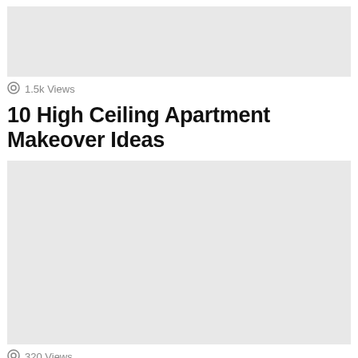[Figure (photo): Light gray image placeholder rectangle at top of page]
1.5k Views
10 High Ceiling Apartment Makeover Ideas
[Figure (photo): Light gray image placeholder rectangle, larger, in middle of page]
320 Views
10 Ways How to Optimize a Small Bedroom